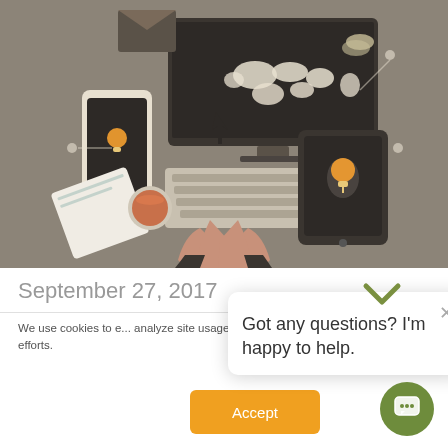[Figure (illustration): Flat design digital technology illustration showing hands typing on laptop keyboard with desktop monitor displaying world map, tablet with lightbulb, smartphone with lightbulb, email icon, and a coffee cup on a document, on a warm gray background.]
September 27, 2017
We use cookies to e... analyze site usage,... efforts.
[Figure (other): Chat popup overlay with chevron/bird icon at top, close X button, message: Got any questions? I'm happy to help.]
Accept
[Figure (other): Green circular chat support button icon in bottom right corner.]